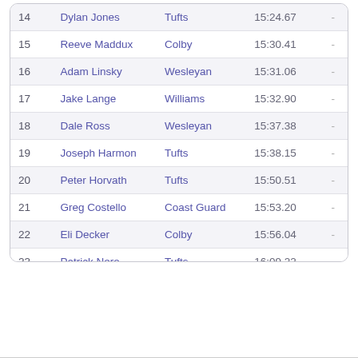| # | Name | School | Time |  |
| --- | --- | --- | --- | --- |
| 14 | Dylan Jones | Tufts | 15:24.67 | - |
| 15 | Reeve Maddux | Colby | 15:30.41 | - |
| 16 | Adam Linsky | Wesleyan | 15:31.06 | - |
| 17 | Jake Lange | Williams | 15:32.90 | - |
| 18 | Dale Ross | Wesleyan | 15:37.38 | - |
| 19 | Joseph Harmon | Tufts | 15:38.15 | - |
| 20 | Peter Horvath | Tufts | 15:50.51 | - |
| 21 | Greg Costello | Coast Guard | 15:53.20 | - |
| 22 | Eli Decker | Colby | 15:56.04 | - |
| 23 | Patrick Nero | Tufts | 16:09.22 | - |